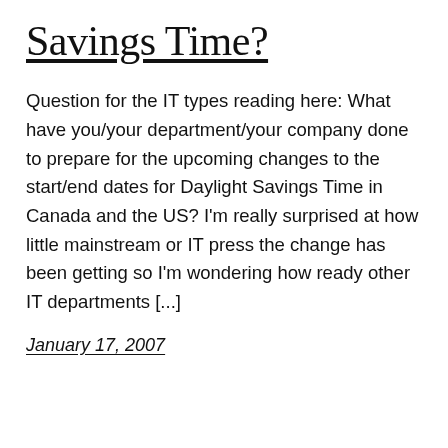Savings Time?
Question for the IT types reading here: What have you/your department/your company done to prepare for the upcoming changes to the start/end dates for Daylight Savings Time in Canada and the US? I'm really surprised at how little mainstream or IT press the change has been getting so I'm wondering how ready other IT departments [...]
January 17, 2007